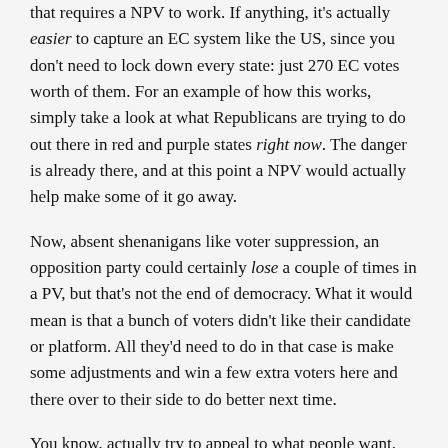that requires a NPV to work. If anything, it's actually easier to capture an EC system like the US, since you don't need to lock down every state: just 270 EC votes worth of them. For an example of how this works, simply take a look at what Republicans are trying to do out there in red and purple states right now. The danger is already there, and at this point a NPV would actually help make some of it go away.
Now, absent shenanigans like voter suppression, an opposition party could certainly lose a couple of times in a PV, but that's not the end of democracy. What it would mean is that a bunch of voters didn't like their candidate or platform. All they'd need to do in that case is make some adjustments and win a few extra voters here and there over to their side to do better next time.
You know, actually try to appeal to what people want.